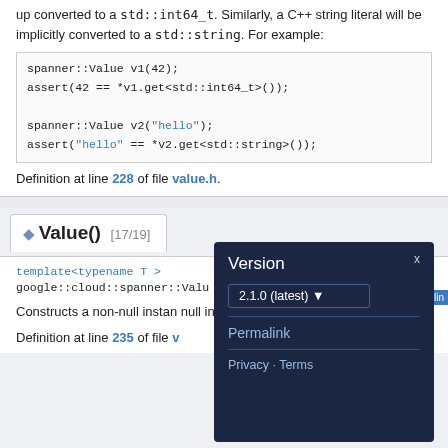up converted to a std::int64_t. Similarly, a C++ string literal will be implicitly converted to a std::string. For example:
spanner::Value v1(42);
assert(42 == *v1.get<std::int64_t>());

spanner::Value v2("hello");
assert("hello" == *v2.get<std::string>());
Definition at line 228 of file value.h.
Value() [17/19]
template<typename T >
google::cloud::spanner::Valu...
Constructs a non-null instan... null instance with the specifi...
Definition at line 235 of file v...
Version
2.1.0 (latest)
Permalink
Privacy · Terms